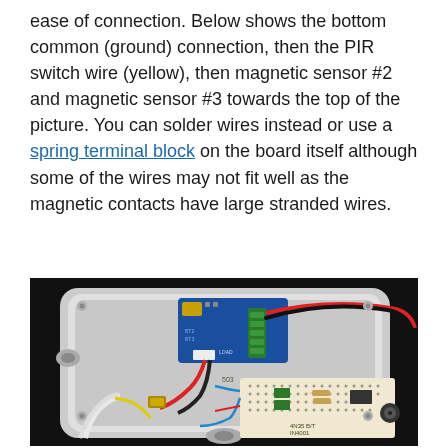ease of connection. Below shows the bottom common (ground) connection, then the PIR switch wire (yellow), then magnetic sensor #2 and magnetic sensor #3 towards the top of the picture. You can solder wires instead or use a spring terminal block on the board itself although some of the wires may not fit well as the magnetic contacts have large stranded wires.
[Figure (photo): Photo of an open white electrical junction box containing a blue circuit board with components, a breadboard, red and black wires, and other electronic components mounted inside.]